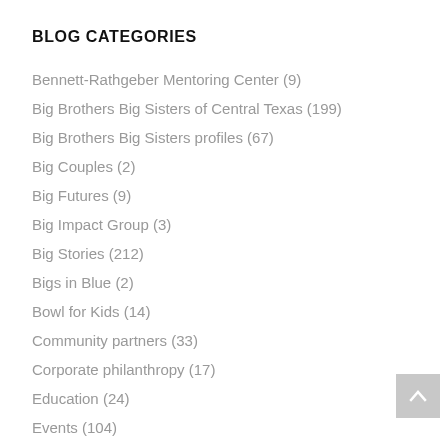BLOG CATEGORIES
Bennett-Rathgeber Mentoring Center (9)
Big Brothers Big Sisters of Central Texas (199)
Big Brothers Big Sisters profiles (67)
Big Couples (2)
Big Futures (9)
Big Impact Group (3)
Big Stories (212)
Bigs in Blue (2)
Bowl for Kids (14)
Community partners (33)
Corporate philanthropy (17)
Education (24)
Events (104)
From the CEO (14)